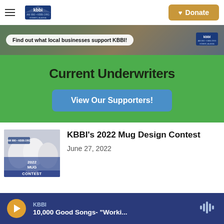KBBI AM 890 | KBBI.ORG Homer Alaska — Donate
[Figure (screenshot): KBBI website banner showing outdoor nature scene with text bubble: Find out what local businesses support KBBI! with KBBI logo on right]
Current Underwriters
View Our Supporters!
[Figure (photo): KBBI 2022 Mug Design Contest promotional image with mugs and text overlay]
KBBI's 2022 Mug Design Contest
June 27, 2022
KBBI — 10,000 Good Songs- "Worki..."